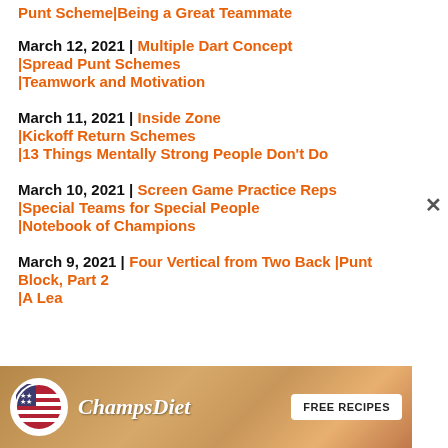Punt Scheme|Being a Great Teammate
March 12, 2021 | Multiple Dart Concept |Spread Punt Schemes |Teamwork and Motivation
March 11, 2021 | Inside Zone |Kickoff Return Schemes |13 Things Mentally Strong People Don't Do
March 10, 2021 | Screen Game Practice Reps |Special Teams for Special People |Notebook of Champions
March 9, 2021 | Four Vertical from Two Back |Punt Block, Part 2 |A Lea...
[Figure (other): ChampsDiet advertisement banner with logo, brand name in italic script, and FREE RECIPES button]